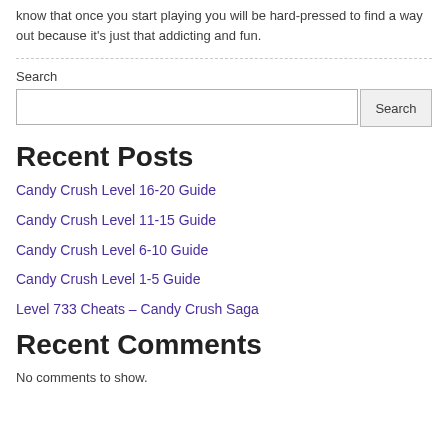know that once you start playing you will be hard-pressed to find a way out because it's just that addicting and fun.
Search
Recent Posts
Candy Crush Level 16-20 Guide
Candy Crush Level 11-15 Guide
Candy Crush Level 6-10 Guide
Candy Crush Level 1-5 Guide
Level 733 Cheats – Candy Crush Saga
Recent Comments
No comments to show.